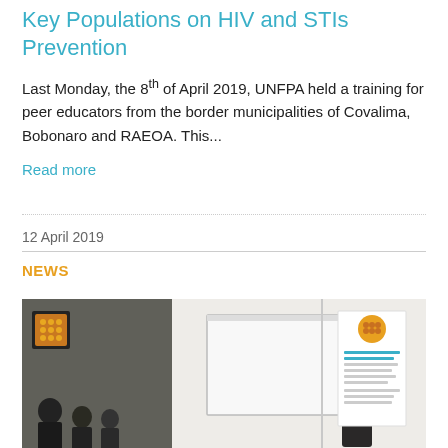Key Populations on HIV and STIs Prevention
Last Monday, the 8th of April 2019, UNFPA held a training for peer educators from the border municipalities of Covalima, Bobonaro and RAEOA. This...
Read more
12 April 2019
NEWS
[Figure (photo): A person raising their hand in front of a whiteboard in a training room, with other participants visible and a banner/poster on the right side.]